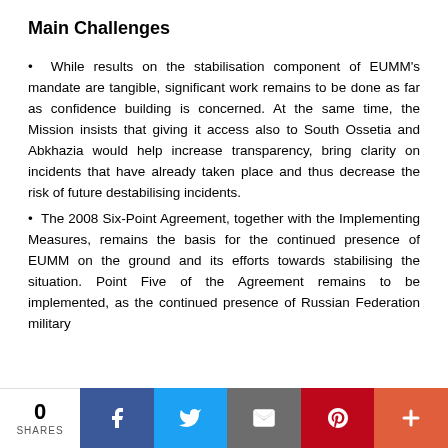Main Challenges
While results on the stabilisation component of EUMM's mandate are tangible, significant work remains to be done as far as confidence building is concerned. At the same time, the Mission insists that giving it access also to South Ossetia and Abkhazia would help increase transparency, bring clarity on incidents that have already taken place and thus decrease the risk of future destabilising incidents.
The 2008 Six-Point Agreement, together with the Implementing Measures, remains the basis for the continued presence of EUMM on the ground and its efforts towards stabilising the situation. Point Five of the Agreement remains to be implemented, as the continued presence of Russian Federation military
0 SHARES